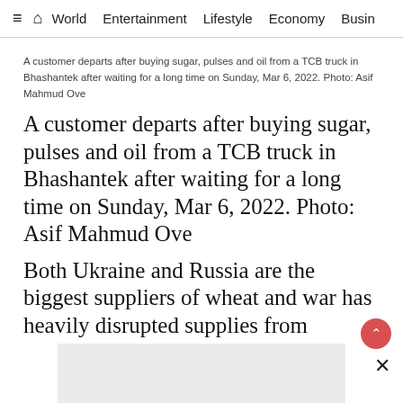≡  🏠  World   Entertainment   Lifestyle   Economy   Busin
A customer departs after buying sugar, pulses and oil from a TCB truck in Bhashantek after waiting for a long time on Sunday, Mar 6, 2022. Photo: Asif Mahmud Ove
A customer departs after buying sugar, pulses and oil from a TCB truck in Bhashantek after waiting for a long time on Sunday, Mar 6, 2022. Photo: Asif Mahmud Ove
Both Ukraine and Russia are the biggest suppliers of wheat and war has heavily disrupted supplies from
[Figure (other): Advertisement placeholder box (gray rectangle)]